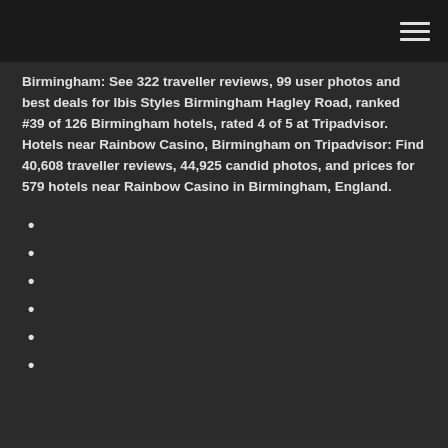Birmingham: See 322 traveller reviews, 99 user photos and best deals for Ibis Styles Birmingham Hagley Road, ranked #39 of 126 Birmingham hotels, rated 4 of 5 at Tripadvisor. Hotels near Rainbow Casino, Birmingham on Tripadvisor: Find 40,608 traveller reviews, 44,925 candid photos, and prices for 579 hotels near Rainbow Casino in Birmingham, England.